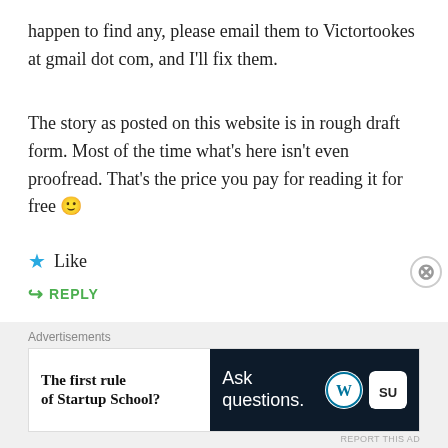happen to find any, please email them to Victortookes at gmail dot com, and I'll fix them.
The story as posted on this website is in rough draft form. Most of the time what's here isn't even proofread. That's the price you pay for reading it for free 🙂
★ Like
↪ REPLY
Advertisements
[Figure (infographic): Pocket Casts ad: colorful logo squares on left, text 'The go-to app for podcast lovers.' with Pocket Casts logo and name]
REPORT THIS AD
Advertisements
[Figure (infographic): WordPress ad: left side white with 'The first rule of Startup School?', right side dark navy with 'Ask questions.' and WordPress and extra logo]